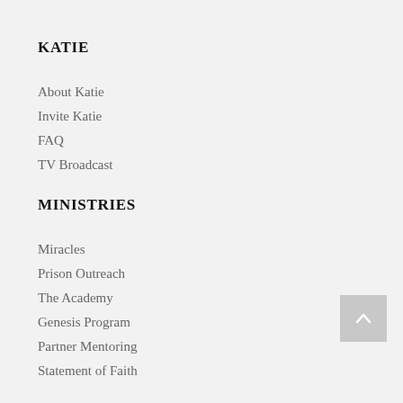KATIE
About Katie
Invite Katie
FAQ
TV Broadcast
MINISTRIES
Miracles
Prison Outreach
The Academy
Genesis Program
Partner Mentoring
Statement of Faith
SHOP
Privacy Policy